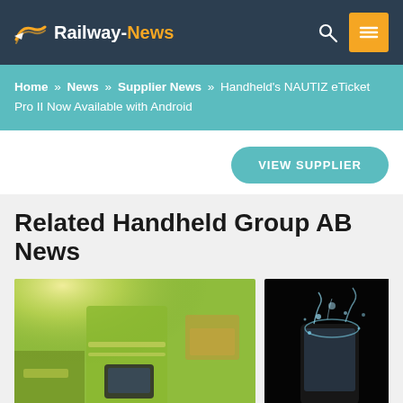Railway-News
Home » News » Supplier News » Handheld's NAUTIZ eTicket Pro II Now Available with Android
VIEW SUPPLIER
Related Handheld Group AB News
[Figure (photo): Worker in high-visibility green jacket holding a handheld device in a warehouse/industrial setting]
[Figure (photo): Dark background with a rugged handheld device being splashed with water]